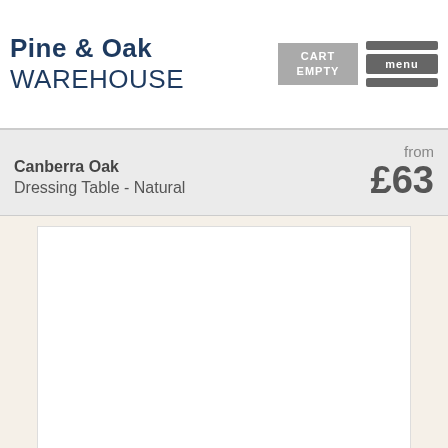Pine & Oak WAREHOUSE
Canberra Oak
Dressing Table - Natural
from £63
[Figure (photo): White/blank product image area for Canberra Oak Dressing Table - Natural]